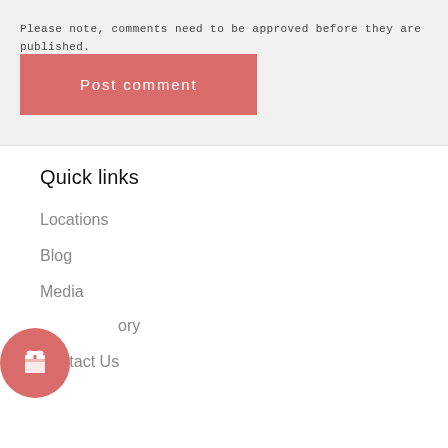Please note, comments need to be approved before they are published.
[Figure (other): Post comment button — a salmon/red rectangular button with white text 'Post comment']
Quick links
Locations
Blog
Media
[Figure (illustration): A circular salmon/red icon with a white gift box symbol]
ory
Contact Us